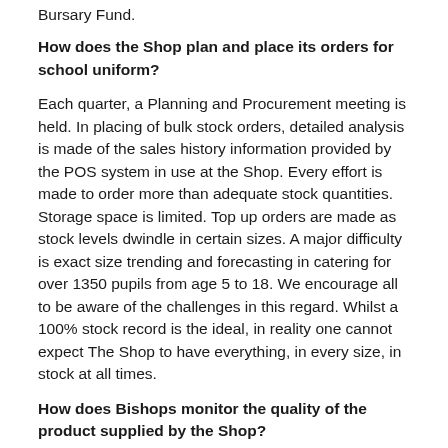Bursary Fund.
How does the Shop plan and place its orders for school uniform?
Each quarter, a Planning and Procurement meeting is held. In placing of bulk stock orders, detailed analysis is made of the sales history information provided by the POS system in use at the Shop. Every effort is made to order more than adequate stock quantities. Storage space is limited. Top up orders are made as stock levels dwindle in certain sizes. A major difficulty is exact size trending and forecasting in catering for over 1350 pupils from age 5 to 18. We encourage all to be aware of the challenges in this regard. Whilst a 100% stock record is the ideal, in reality one cannot expect The Shop to have everything, in every size, in stock at all times.
How does Bishops monitor the quality of the product supplied by the Shop?
The Bishops Business Manager meets regularly with the School Shop Management to discuss such matters. We are fully informed of any difficulties which the Shop may encounter in sourcing and supplying the required goods. We know how difficult the clothing and textile industry is, particularly in the